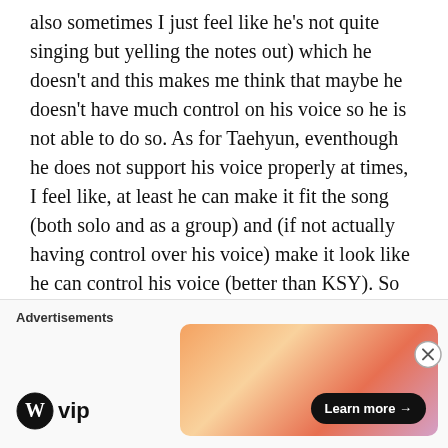also sometimes I just feel like he's not quite singing but yelling the notes out) which he doesn't and this makes me think that maybe he doesn't have much control on his voice so he is not able to do so. As for Taehyun, eventhough he does not support his voice properly at times, I feel like, at least he can make it fit the song (both solo and as a group) and (if not actually having control over his voice) make it look like he can control his voice (better than KSY). So what is your opinion on this, is Taehyun's technique really (a bit) better than KSY, or am I just biased? (P.S. neither a native Eng. speaker nor an
Advertisements
[Figure (logo): WordPress VIP logo with W circle icon and 'vip' text]
[Figure (infographic): Advertisement banner with gradient orange-pink background and 'Learn more →' button]